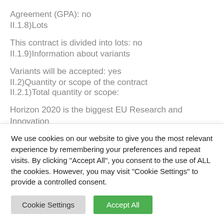Agreement (GPA): no
II.1.8)Lots
This contract is divided into lots: no
II.1.9)Information about variants
Variants will be accepted: yes
II.2)Quantity or scope of the contract
II.2.1)Total quantity or scope:
Horizon 2020 is the biggest EU Research and Innovation programme ever with nearly 80,000,000,000 EUR of funding
We use cookies on our website to give you the most relevant experience by remembering your preferences and repeat visits. By clicking "Accept All", you consent to the use of ALL the cookies. However, you may visit "Cookie Settings" to provide a controlled consent.